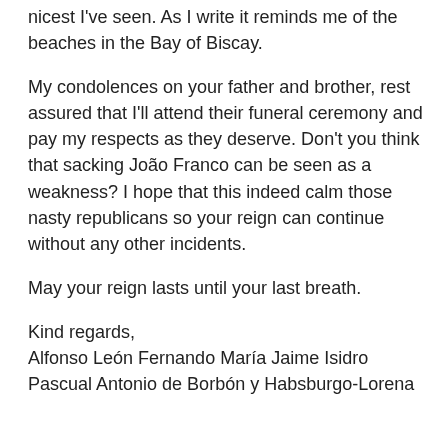nicest I've seen. As I write it reminds me of the beaches in the Bay of Biscay.
My condolences on your father and brother, rest assured that I'll attend their funeral ceremony and pay my respects as they deserve. Don't you think that sacking João Franco can be seen as a weakness? I hope that this indeed calm those nasty republicans so your reign can continue without any other incidents.
May your reign lasts until your last breath.
Kind regards,
Alfonso León Fernando María Jaime Isidro Pascual Antonio de Borbón y Habsburgo-Lorena